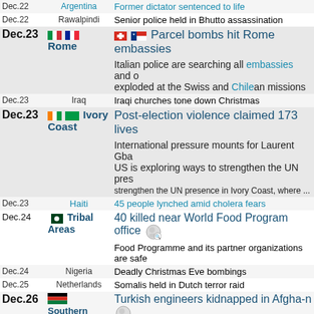Dec.22 Argentina - Former dictator sentenced to life
Dec.22 Rawalpindi - Senior police held in Bhutto assassination
Dec.23 Rome - Parcel bombs hit Rome embassies
Italian police are searching all embassies and others. exploded at the Swiss and Chilean missions
Dec.23 Iraq - Iraqi churches tone down Christmas
Dec.23 Ivory Coast - Post-election violence claimed 173 lives
International pressure mounts for Laurent Gba... US is exploring ways to strengthen the UN presence in Ivory Coast, where ...
Dec.23 Haiti - 45 people lynched amid cholera fears
Dec.24 Tribal Areas - 40 killed near World Food Program office
Food Programme and its partner organizations are safe
Dec.24 Nigeria - Deadly Christmas Eve bombings
Dec.25 Netherlands - Somalis held in Dutch terror raid
Dec.26 Southern Afghanistan - Turkish engineers kidnapped in Afgha-n
Paktia, one kilometer from the Pakistan border
Dec.27 Moscow - Russian court finds Khodorkovsky guilty
A judge in Moscow has found former Russian Khodorkovsky and his business partner guilty of...
Khodorkovsky, once Russia's richest man and considered... Putin, was convicted at a new trial of embezzlement